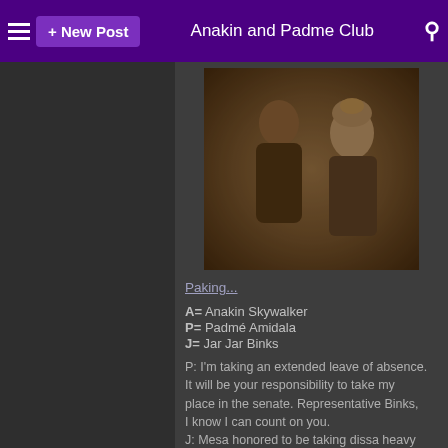≡  + New Post    Anakin and Padme Club  🔍
[Figure (photo): A sepia-toned photo of two Star Wars characters, Anakin and Padme, facing each other in a close scene]
Paking...
A= Anakin Skywalker
P= Padmé Amidala
J= Jar Jar Binks
P: I'm taking an extended leave of absence. It will be your responsibility to take my place in the senate. Representative Binks, I know I can count on you.
J: Mesa honored to be taking dissa heavy burden. Mesa accepts this with muy muy humility and...
P: Jar Jar, I don't wish to hold Ты up. I'm sure you'll have a great deal to do.
B: Of course, Milady

P: I do not like this idea of hiding.
A: Don't worry. Now that the council has ordered